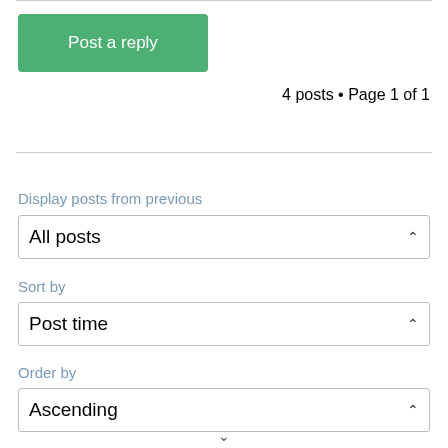[Figure (screenshot): Green 'Post a reply' button]
4 posts • Page 1 of 1
Display posts from previous
All posts
Sort by
Post time
Order by
Ascending